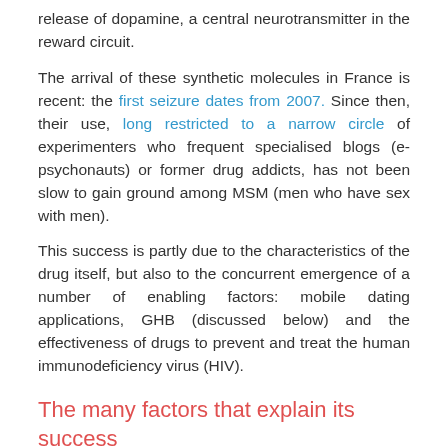release of dopamine, a central neurotransmitter in the reward circuit.
The arrival of these synthetic molecules in France is recent: the first seizure dates from 2007. Since then, their use, long restricted to a narrow circle of experimenters who frequent specialised blogs (e-psychonauts) or former drug addicts, has not been slow to gain ground among MSM (men who have sex with men).
This success is partly due to the characteristics of the drug itself, but also to the concurrent emergence of a number of enabling factors: mobile dating applications, GHB (discussed below) and the effectiveness of drugs to prevent and treat the human immunodeficiency virus (HIV).
The many factors that explain its success
Firstly, it should be noted that synthetic cathinones are rather cheap because of their relatively simple production, while their effects are powerful and without the appearance of tolerance when used regularly. This is